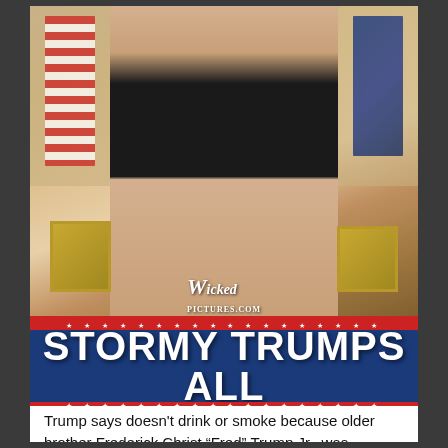[Figure (photo): Movie/video cover art showing a woman in a black outfit seated on a desk with American flags and framed photos in the background. Wicked Pictures logo visible. Large text banner reading 'STORMY TRUMPS ALL' on a red-white-and-blue patriotic banner.]
Trump says doesn't drink or smoke because older brother Frederick Christ “Fred” Trump Jr., was